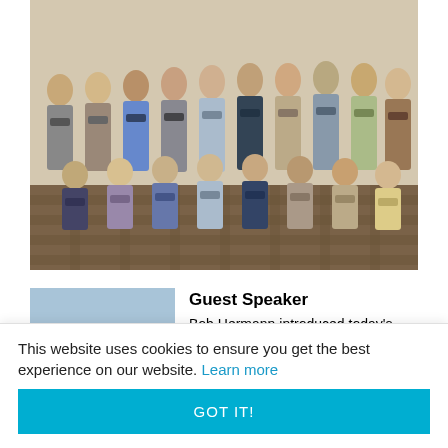[Figure (photo): Group photo of approximately 30 masked young people posed together in rows in what appears to be a conference or community room. Everyone is wearing face masks. Background shows a patterned carpet floor.]
Guest Speaker
[Figure (photo): Portrait photo of an older woman with gray-blonde hair, cropped close to her face, outdoors with buildings visible in the background. This is Diane Stark from the San Francisco-Marin Food Bank.]
Bob Hermann introduced today's guest speaker, Diane Stark, from the San Francisco-Marin Food Bank. Diane joined the meeting via Zoom. She has been with the San...
This website uses cookies to ensure you get the best experience on our website. Learn more
GOT IT!